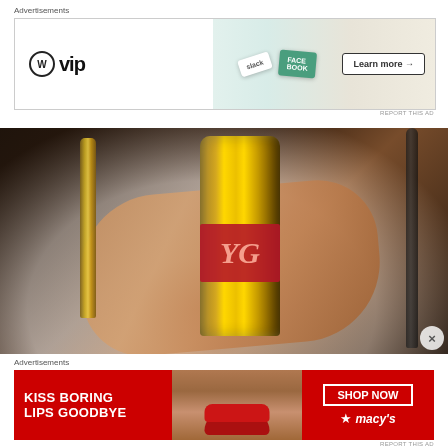Advertisements
[Figure (photo): WordPress VIP advertisement banner with 'Learn more' button, alongside Slack and Facebook card imagery]
REPORT THIS AD
[Figure (photo): Close-up photograph of a YSL (Yves Saint Laurent) gold lipstick tube being held in a hand, with red YSL logo band around the tube. Other cosmetic items visible in background.]
Advertisements
[Figure (photo): Macy's advertisement banner with red background showing 'KISS BORING LIPS GOODBYE' text, a woman's face with red lips, and 'SHOP NOW' button with Macy's star logo]
REPORT THIS AD